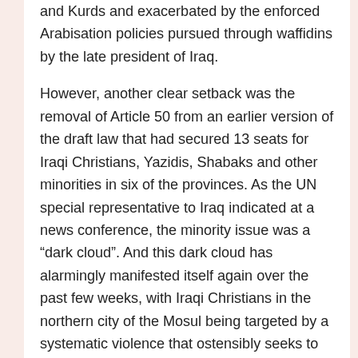and Kurds and exacerbated by the enforced Arabisation policies pursued through waffidins by the late president of Iraq.
However, another clear setback was the removal of Article 50 from an earlier version of the draft law that had secured 13 seats for Iraqi Christians, Yazidis, Shabaks and other minorities in six of the provinces. As the UN special representative to Iraq indicated at a news conference, the minority issue was a “dark cloud”. And this dark cloud has alarmingly manifested itself again over the past few weeks, with Iraqi Christians in the northern city of the Mosul being targeted by a systematic violence that ostensibly seeks to oust them from the area. With almost half the Iraqi Christian population of 800,000 having already fled the country since 2003, many witnesses reported the murder of Christians and the displacement of well nigh 2200 families (roughly 13,000 individuals) toward the Nineveh Plain, as well as nearby towns